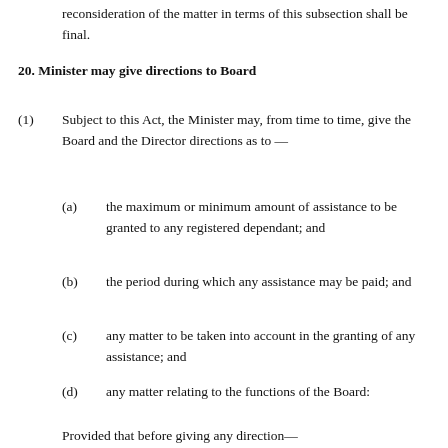reconsideration of the matter in terms of this subsection shall be final.
20. Minister may give directions to Board
(1)    Subject to this Act, the Minister may, from time to time, give the Board and the Director directions as to —
(a)   the maximum or minimum amount of assistance to be granted to any registered dependant; and
(b)   the period during which any assistance may be paid; and
(c)   any matter to be taken into account in the granting of any assistance; and
(d)   any matter relating to the functions of the Board:
Provided that before giving any direction—